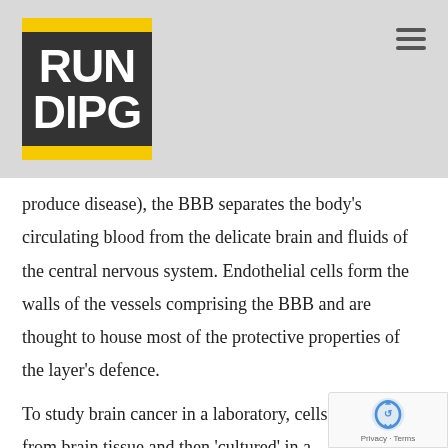[Figure (logo): RUN DIPG logo — dark background with yellow horizontal bars top and bottom, white bold text 'RUN DIPG']
produce disease), the BBB separates the body's circulating blood from the delicate brain and fluids of the central nervous system. Endothelial cells form the walls of the vessels comprising the BBB and are thought to house most of the protective properties of the layer's defence.

To study brain cancer in a laboratory, cells are isolated from brain tissue and then 'cultured' in a